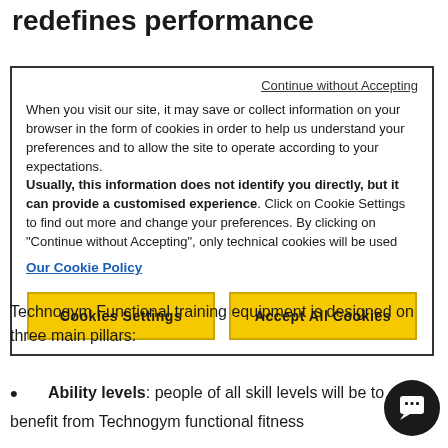redefines performance
Continue without Accepting
When you visit our site, it may save or collect information on your browser in the form of cookies in order to help us understand your preferences and to allow the site to operate according to your expectations. Usually, this information does not identify you directly, but it can provide a customised experience. Click on Cookie Settings to find out more and change your preferences. By clicking on "Continue without Accepting", only technical cookies will be used
Our Cookie Policy
Cookies Settings
Accept All Cookies
Technogym Functional training equipment is designed on three main pillars:
Ability levels: people of all skill levels will be to benefit from Technogym functional fitness